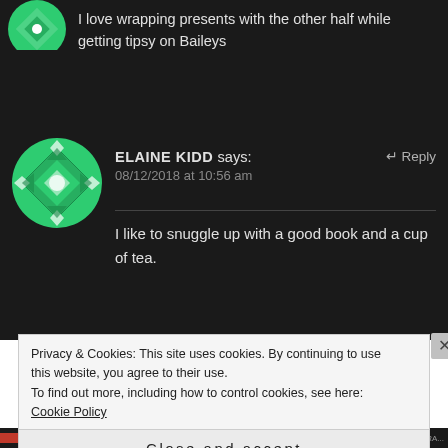I love wrapping presents with the other half while getting tipsy on Baileys
[Figure (illustration): Green geometric avatar icon, partially visible at top left]
[Figure (illustration): Green geometric diamond-pattern avatar icon for Elaine Kidd]
ELAINE KIDD says: Reply 08/12/2018 at 10:56 am
I like to snuggle up with a good book and a cup of tea.
Privacy & Cookies: This site uses cookies. By continuing to use this website, you agree to their use.
To find out more, including how to control cookies, see here: Cookie Policy
Close and accept